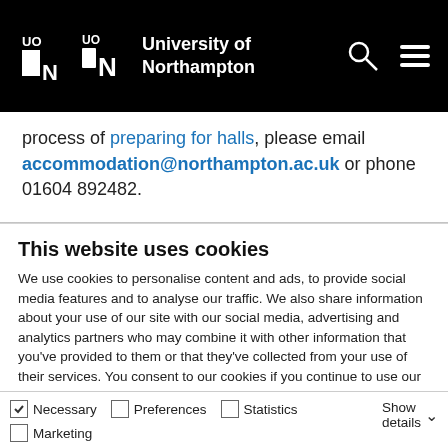University of Northampton
process of preparing for halls, please email accommodation@northampton.ac.uk or phone 01604 892482.
This website uses cookies
We use cookies to personalise content and ads, to provide social media features and to analyse our traffic. We also share information about your use of our site with our social media, advertising and analytics partners who may combine it with other information that you've provided to them or that they've collected from your use of their services. You consent to our cookies if you continue to use our website.
Allow all cookies | Allow selection | Use necessary cookies only
Necessary  Preferences  Statistics  Marketing  Show details